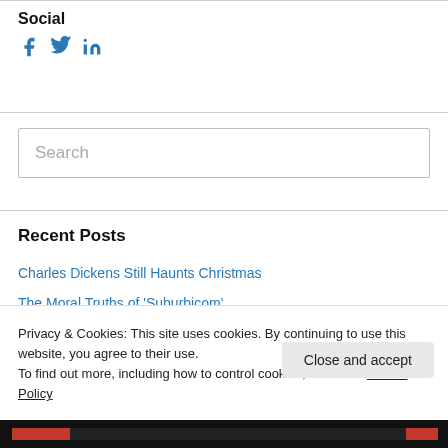Social
[Figure (infographic): Social media icons: Facebook, Twitter, LinkedIn in blue]
[Figure (other): Search input box with placeholder text 'Search']
Recent Posts
Charles Dickens Still Haunts Christmas
The Moral Truths of 'Suburbicom'
Privacy & Cookies: This site uses cookies. By continuing to use this website, you agree to their use.
To find out more, including how to control cookies, see here: Cookie Policy
Close and accept